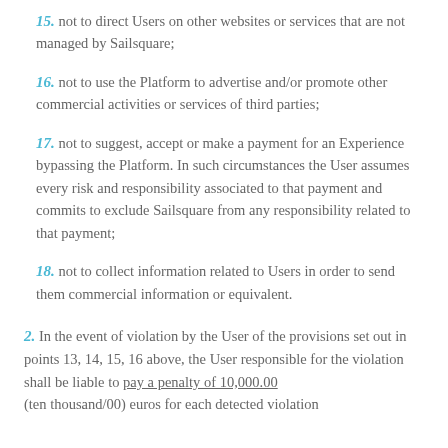15. not to direct Users on other websites or services that are not managed by Sailsquare;
16. not to use the Platform to advertise and/or promote other commercial activities or services of third parties;
17. not to suggest, accept or make a payment for an Experience bypassing the Platform. In such circumstances the User assumes every risk and responsibility associated to that payment and commits to exclude Sailsquare from any responsibility related to that payment;
18. not to collect information related to Users in order to send them commercial information or equivalent.
2. In the event of violation by the User of the provisions set out in points 13, 14, 15, 16 above, the User responsible for the violation shall be liable to pay a penalty of 10,000.00 (ten thousand/00) euros for each detected violation